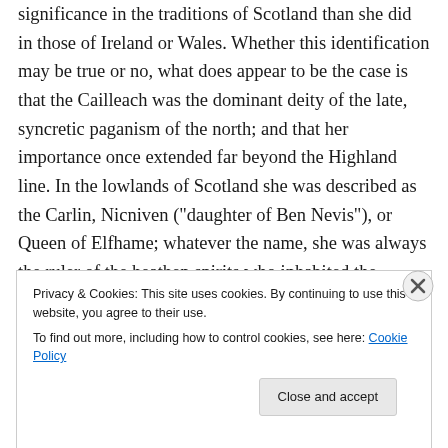significance in the traditions of Scotland than she did in those of Ireland or Wales. Whether this identification may be true or no, what does appear to be the case is that the Cailleach was the dominant deity of the late, syncretic paganism of the north; and that her importance once extended far beyond the Highland line. In the lowlands of Scotland she was described as the Carlin, Nicniven ("daughter of Ben Nevis"), or Queen of Elfhame; whatever the name, she was always the ruler of the heathen spirits who inhabited the otherworld. Carlin placenames extend beyond Scotland; in northern England they are found also,
Privacy & Cookies: This site uses cookies. By continuing to use this website, you agree to their use.
To find out more, including how to control cookies, see here: Cookie Policy
Close and accept